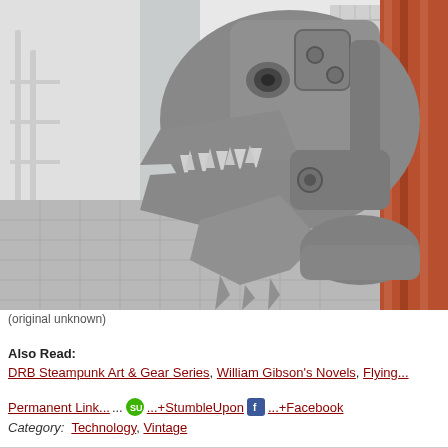[Figure (photo): Close-up photograph of a large industrial demolition claw/shear attachment that has been decorated or designed to look like a dinosaur or dragon head with jagged metal teeth and claw-like appendages. The machine is grey/silver metal, set against a background of concrete block wall and scaffolding/construction equipment including rust-colored metal framework on the right side.]
(original unknown)
Also Read:
DRB Steampunk Art & Gear Series, William Gibson's Novels, Flying...
Permanent Link... ...+StumbleUpon ...+Facebook
Category: Technology, Vintage